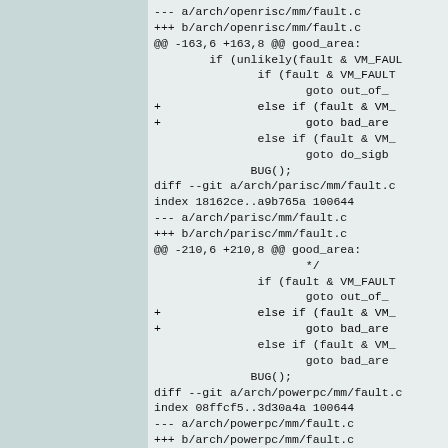--- a/arch/openrisc/mm/fault.c
+++ b/arch/openrisc/mm/fault.c
@@ -163,6 +163,8 @@ good_area:
        if (unlikely(fault & VM_FAUL
               if (fault & VM_FAULT
                      goto out_of_
+              else if (fault & VM_
+                     goto bad_are
               else if (fault & VM_
                      goto do_sigb
              BUG();
diff --git a/arch/parisc/mm/fault.c
index 18162ce..a9b765a 100644
--- a/arch/parisc/mm/fault.c
+++ b/arch/parisc/mm/fault.c
@@ -210,6 +210,8 @@ good_area:
                      */
               if (fault & VM_FAULT
                      goto out_of_
+              else if (fault & VM_
+                     goto bad_are
               else if (fault & VM_
                      goto bad_are
              BUG();
diff --git a/arch/powerpc/mm/fault.c
index 08ffcf5..3d30a4a 100644
--- a/arch/powerpc/mm/fault.c
+++ b/arch/powerpc/mm/fault.c
@@ -419,7 +419,11 @@ good_area:
              */